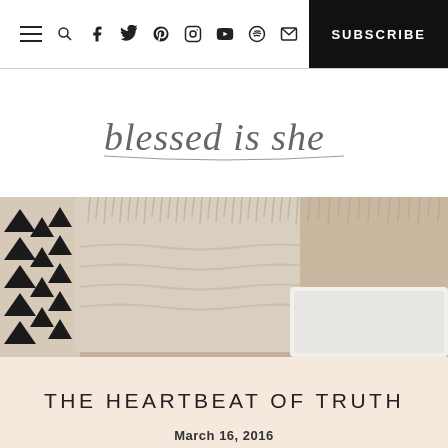Navigation bar with hamburger menu, search, social icons (facebook, twitter, pinterest, instagram, youtube, spotify, mail), and SUBSCRIBE button
[Figure (logo): Handwritten script cursive text reading 'blessed is she' as a logo/wordmark]
[Figure (photo): Cozy lifestyle photo showing textured cream/beige fringe pillows on a couch with a black triangle pattern textile on the left side and a white laptop partially visible on the right]
THE HEARTBEAT OF TRUTH
March 16, 2016